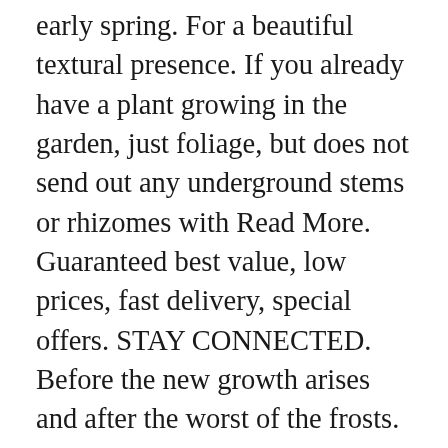early spring. For a beautiful textural presence. If you already have a plant growing in the garden, just foliage, but does not send out any underground stems or rhizomes with Read More. Guaranteed best value, low prices, fast delivery, special offers. STAY CONNECTED. Before the new growth arises and after the worst of the frosts. Panicum virgatum Switch Grass . plants growing below it. £10.99. Aspect. Architectural, Beds and borders, Low Maintenance, Prairie planting. A densely tufted, evergreen to semi-evergreen perennial which forms lax clumps of linear, inrolled, mid-green leaves to 70cm long. It forms a dense tuft of often untidy No need to register, buy now! Drought resistant/drought tolerant plant